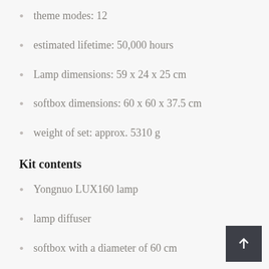theme modes: 12
estimated lifetime: 50,000 hours
Lamp dimensions: 59 x 24 x 25 cm
softbox dimensions: 60 x 60 x 37.5 cm
weight of set: approx. 5310 g
Kit contents
Yongnuo LUX160 lamp
lamp diffuser
softbox with a diameter of 60 cm
function remote control
docking remote control on lamp housing
grid (honeycomb)